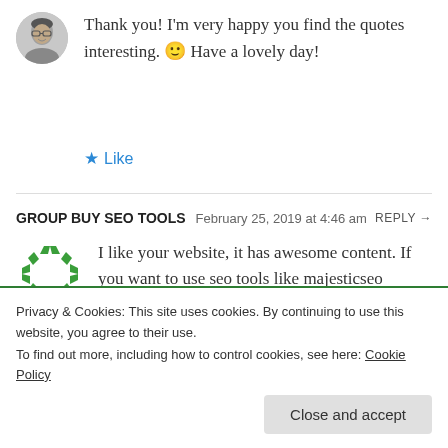Thank you! I'm very happy you find the quotes interesting. 🙂 Have a lovely day!
★ Like
GROUP BUY SEO TOOLS   February 25, 2019 at 4:46 am   REPLY →
I like your website, it has awesome content. If you want to use seo tools like majesticseo ,semrush guru, ahrefs , moz, keyword revealer, grammarly, wordai, article forge and
Privacy & Cookies: This site uses cookies. By continuing to use this website, you agree to their use.
To find out more, including how to control cookies, see here: Cookie Policy
Close and accept